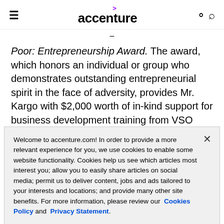accenture
Poor: Entrepreneurship Award. The award, which honors an individual or group who demonstrates outstanding entrepreneurial spirit in the face of adversity, provides Mr. Kargo with $2,000 worth of in-kind support for business development training from VSO partners to help him build his business by
Welcome to accenture.com! In order to provide a more relevant experience for you, we use cookies to enable some website functionality. Cookies help us see which articles most interest you; allow you to easily share articles on social media; permit us to deliver content, jobs and ads tailored to your interests and locations; and provide many other site benefits. For more information, please review our Cookies Policy and Privacy Statement.